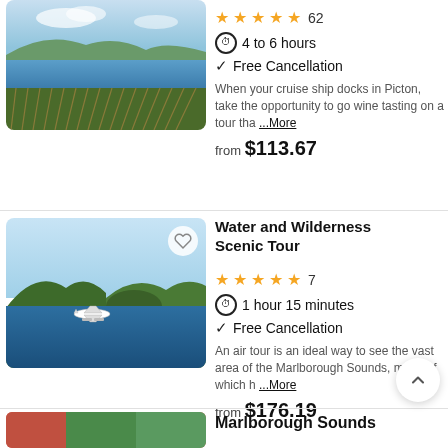[Figure (photo): Aerial view of vineyard with sea and hills in background (Marlborough/Picton region)]
★★★★★ 62
4 to 6 hours
✓ Free Cancellation
When your cruise ship docks in Picton, take the opportunity to go wine tasting on a tour tha ...More
from $113.67
Water and Wilderness Scenic Tour
[Figure (photo): Aerial view of a small plane flying over the Marlborough Sounds, with forested hills and blue water]
★★★★★ 7
1 hour 15 minutes
✓ Free Cancellation
An air tour is an ideal way to see the vast area of the Marlborough Sounds, much of which h ...More
from $176.19
[Figure (photo): Partial view of a colorful image for Marlborough Sounds listing (bottom, cropped)]
Marlborough Sounds